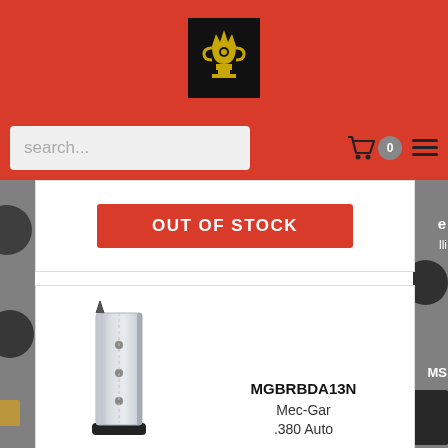Website header with logo and search bar
[Figure (screenshot): Gun shop website screenshot showing header with red background and crown/trophy logo, search bar, cart icon with badge '0', and hamburger menu.]
Out of Stock
[Figure (photo): Silver/chrome pistol magazine (Mec-Gar) standing upright on white background]
MGBRBDA13N
Mec-Gar
.380 Auto